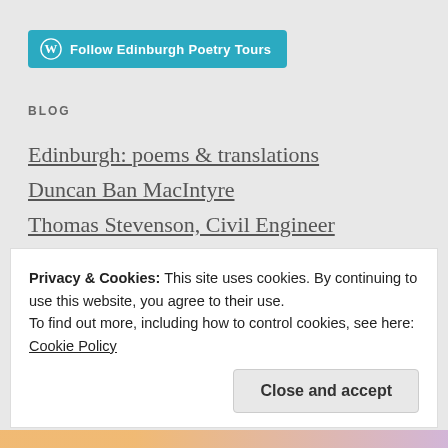[Figure (logo): Follow Edinburgh Poetry Tours WordPress follow button in teal/cyan color with WordPress logo icon]
BLOG
Edinburgh: poems & translations
Duncan Ban MacIntyre
Thomas Stevenson, Civil Engineer
James 'Ossian' Macpherson
Robert Burns
Privacy & Cookies: This site uses cookies. By continuing to use this website, you agree to their use.
To find out more, including how to control cookies, see here: Cookie Policy
Close and accept